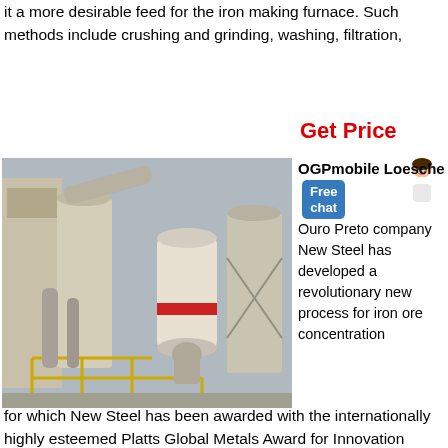it a more desirable feed for the iron making furnace. Such methods include crushing and grinding, washing, filtration,
Get Price
[Figure (photo): Industrial iron ore grinding/concentration facility showing large cylindrical grinding mill equipment, dust collectors, conveyors and metal framework structures at a plant site.]
OGPmobile Loesche Ouro Preto company New Steel has developed a revolutionary new process for iron ore concentration
for which New Steel has been awarded with the internationally highly esteemed Platts Global Metals Award for Innovation 2015. This new processing route utilizes Loesche grinding technology and is considered